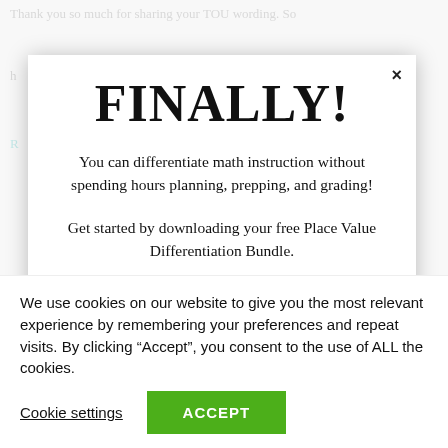Thank you so much for sharing your TOU wording. So
FINALLY!
You can differentiate math instruction without spending hours planning, prepping, and grading!
Get started by downloading your free Place Value Differentiation Bundle.
We use cookies on our website to give you the most relevant experience by remembering your preferences and repeat visits. By clicking “Accept”, you consent to the use of ALL the cookies.
Cookie settings
ACCEPT